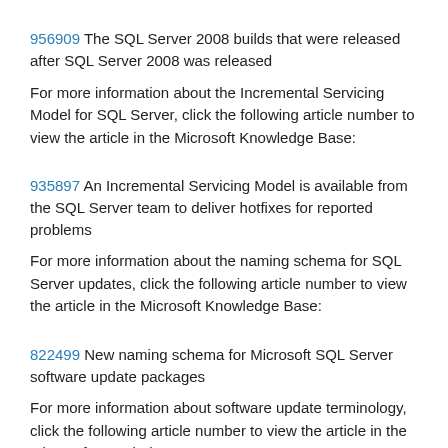956909 The SQL Server 2008 builds that were released after SQL Server 2008 was released
For more information about the Incremental Servicing Model for SQL Server, click the following article number to view the article in the Microsoft Knowledge Base:
935897 An Incremental Servicing Model is available from the SQL Server team to deliver hotfixes for reported problems
For more information about the naming schema for SQL Server updates, click the following article number to view the article in the Microsoft Knowledge Base:
822499 New naming schema for Microsoft SQL Server software update packages
For more information about software update terminology, click the following article number to view the article in the Microsoft Knowledge Base: